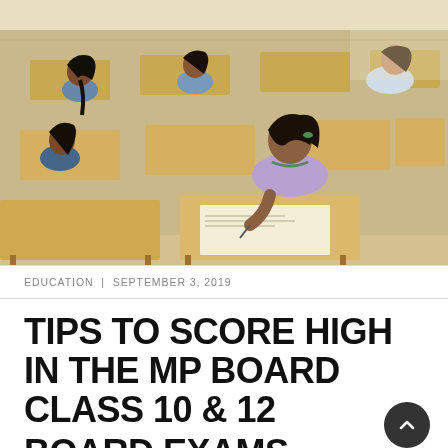[Figure (photo): Students sitting at wooden desks in a classroom, writing on exam papers. A girl in a purple top and green hair clip is prominently visible in the foreground, writing with a pen.]
EDUCATION | SEPTEMBER 3, 2019
TIPS TO SCORE HIGH IN THE MP BOARD CLASS 10 & 12 BOARD EXAMS